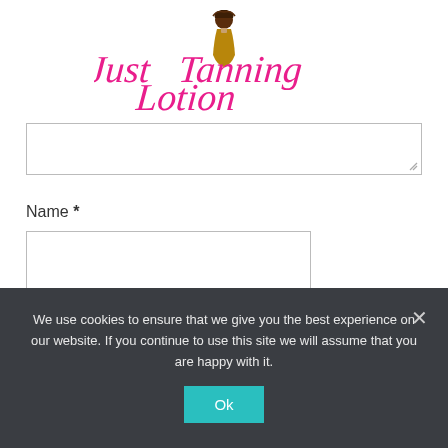[Figure (logo): Just Tanning Lotion logo with stylized woman figure and pink/brown script text]
[textarea - partially visible at top]
Name *
[Name input field]
Email *
[Email input field - partially visible]
We use cookies to ensure that we give you the best experience on our website. If you continue to use this site we will assume that you are happy with it.
Ok